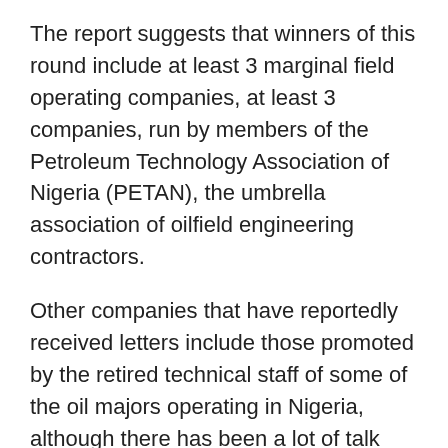The report suggests that winners of this round include at least 3 marginal field operating companies, at least 3 companies, run by members of the Petroleum Technology Association of Nigeria (PETAN), the umbrella association of oilfield engineering contractors.
Other companies that have reportedly received letters include those promoted by the retired technical staff of some of the oil majors operating in Nigeria, although there has been a lot of talk about underhand dealings in Abuja with names of companies who did not take part in the bidding process awarded oilfields.
READ: Banks to recover N6.125 trillion loan from oil firms